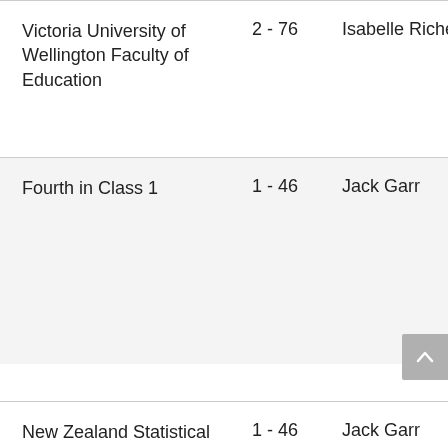| Name | Range | Author |
| --- | --- | --- |
| Victoria University of Wellington Faculty of Education | 2 - 76 | Isabelle Riche |
| Fourth in Class 1 | 1 - 46 | Jack Garr |
| New Zealand Statistical Association... | 1 - 46 | Jack Garr |